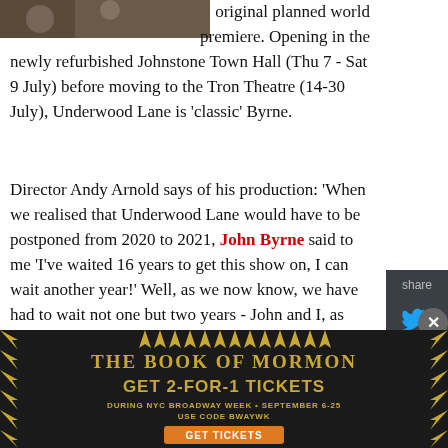[Figure (photo): Partial photo visible at top left of page]
original planned world premiere. Opening in the newly refurbished Johnstone Town Hall (Thu 7 - Sat 9 July) before moving to the Tron Theatre (14-30 July), Underwood Lane is 'classic' Byrne.
Director Andy Arnold says of his production: 'When we realised that Underwood Lane would have to be postponed from 2020 to 2021, John Byrne said to me 'I've waited 16 years to get this show on, I can wait another year!' Well, as we now know, we have had to wait not one but two years - John and I, as well as all the cast and creative team, are champing at the bit to stage this brilliant piece of musical theatre,'
[Figure (infographic): Advertisement banner for The Book of Mormon musical. Text reads: THE BOOK OF MORMON GET 2-FOR-1 TICKETS DURING NYC BROADWAY WEEK • SEPTEMBER 6-25 USE CODE BWAYWK GET TICKETS]